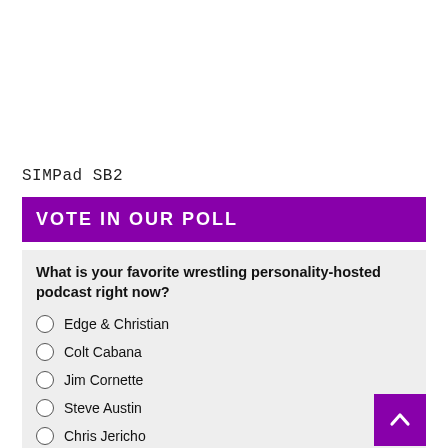SIMPad SB2
VOTE IN OUR POLL
What is your favorite wrestling personality-hosted podcast right now?
Edge & Christian
Colt Cabana
Jim Cornette
Steve Austin
Chris Jericho
Booker T